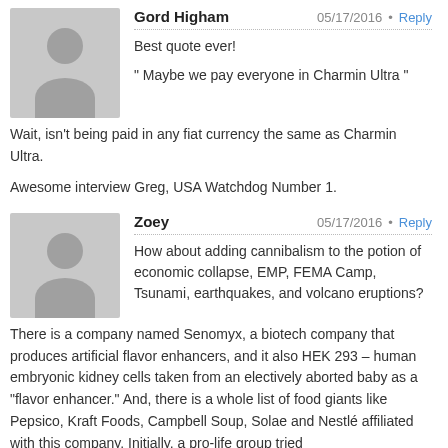Gord Higham
05/17/2016 • Reply
Best quote ever!

" Maybe we pay everyone in Charmin Ultra "
Wait, isn't being paid in any fiat currency the same as Charmin Ultra.
Awesome interview Greg, USA Watchdog Number 1.
Zoey
05/17/2016 • Reply
How about adding cannibalism to the potion of economic collapse, EMP, FEMA Camp, Tsunami, earthquakes, and volcano eruptions?
There is a company named Senomyx, a biotech company that produces artificial flavor enhancers, and it also HEK 293 – human embryonic kidney cells taken from an electively aborted baby as a “flavor enhancer.” And, there is a whole list of food giants like Pepsico, Kraft Foods, Campbell Soup, Solae and Nestlé affiliated with this company. Initially, a pro-life group tried